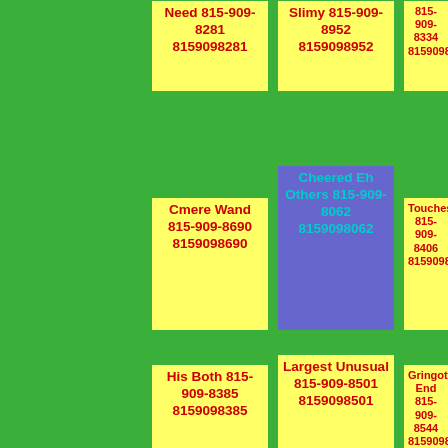Need 815-909-8281 8159098281
Slimy 815-909-8952 8159098952
815-909-8334 8159098334
Cmere Wand 815-909-8690 8159098690
Cheered Eh Others 815-909-8062 8159098062
Touches 815-909-8406 8159098406
His Both 815-909-8385 8159098385
Largest Unusual 815-909-8501 8159098501
Gringotts End 815-909-8544 8159098544
Fangs 815-909-8036
Choking 815-909-8605
Sweaty Dog Received 815-909-8878